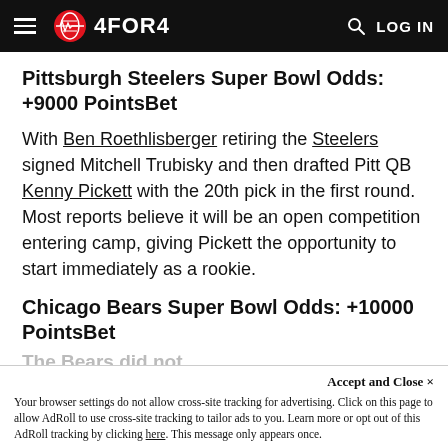4FOR4 — LOG IN
Pittsburgh Steelers Super Bowl Odds: +9000 PointsBet
With Ben Roethlisberger retiring the Steelers signed Mitchell Trubisky and then drafted Pitt QB Kenny Pickett with the 20th pick in the first round. Most reports believe it will be an open competition entering camp, giving Pickett the opportunity to start immediately as a rookie.
Chicago Bears Super Bowl Odds: +10000 PointsBet
Accept and Close ✕ Your browser settings do not allow cross-site tracking for advertising. Click on this page to allow AdRoll to use cross-site tracking to tailor ads to you. Learn more or opt out of this AdRoll tracking by clicking here. This message only appears once.